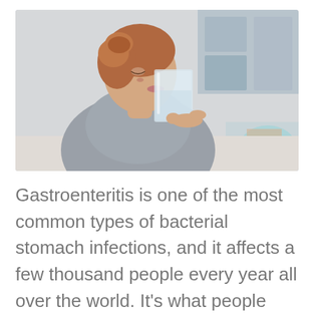[Figure (photo): A young woman with auburn hair in a bun, wearing a grey shirt, drinking a glass of water. The background is a blurred indoor setting.]
Gastroenteritis is one of the most common types of bacterial stomach infections, and it affects a few thousand people every year all over the world. It's what people commonly